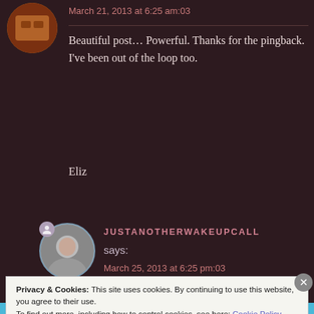March 21, 2013 at 6:25 am:03
Beautiful post… Powerful. Thanks for the pingback. I've been out of the loop too.
Eliz
JUSTANOTHERWAKEUPCALL says:
March 25, 2013 at 6:25 pm:03
Privacy & Cookies: This site uses cookies. By continuing to use this website, you agree to their use.
To find out more, including how to control cookies, see here: Cookie Policy
Close and accept